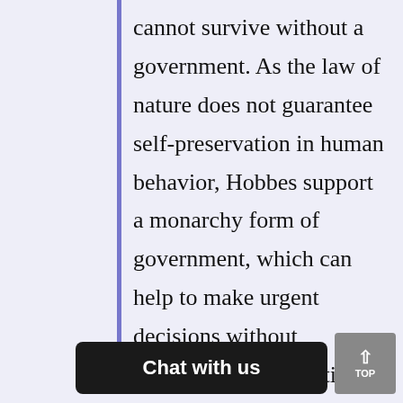cannot survive without a government. As the law of nature does not guarantee self-preservation in human behavior, Hobbes support a monarchy form of government, which can help to make urgent decisions without encountering opposition from the ruling council. Hobbes opposes organized government because it creates conflict in arriving at a solution.